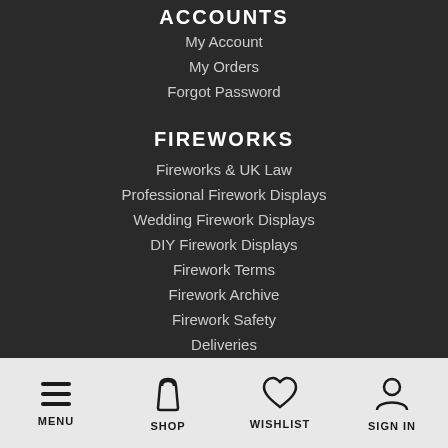ACCOUNTS
My Account
My Orders
Forgot Password
FIREWORKS
Fireworks & UK Law
Professional Firework Displays
Wedding Firework Displays
DIY Firework Displays
Firework Terms
Firework Archive
Firework Safety
Deliveries
MENU   SHOP   WISHLIST   SIGN IN